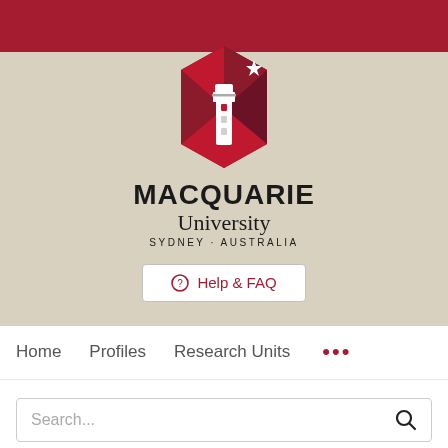[Figure (logo): Macquarie University logo with hexagonal red and dark red geometric lighthouse design and star, above text MACQUARIE University SYDNEY·AUSTRALIA]
⊕ Help & FAQ
Home   Profiles   Research Units   •••
Search...
Archean sulfide inclusions in Paleozoic zircon megacrysts from